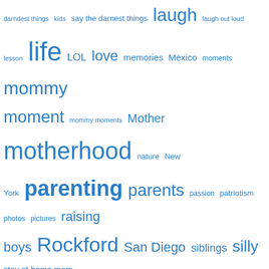[Figure (infographic): Tag cloud with parenting/mommy blog keywords in varying blue font sizes]
Show other Mamas Love
Privacy & Cookies: This site uses cookies. By continuing to use this website, you agree to their use. To find out more, including how to control cookies, see here: Cookie Policy
Close and accept